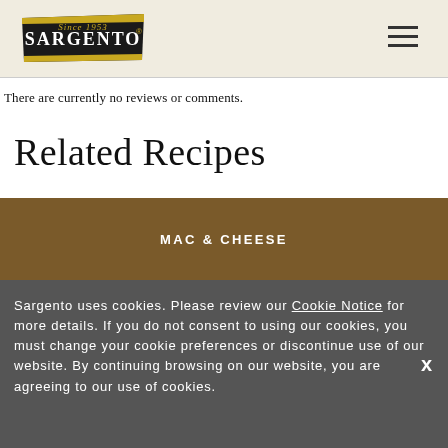Sargento [logo] [hamburger menu]
There are currently no reviews or comments.
Related Recipes
[Figure (photo): Food photo strip showing mac and cheese dish with label MAC & CHEESE overlaid in white uppercase letters]
Sargento uses cookies. Please review our Cookie Notice for more details. If you do not consent to using our cookies, you must change your cookie preferences or discontinue use of our website. By continuing browsing on our website, you are agreeing to our use of cookies.